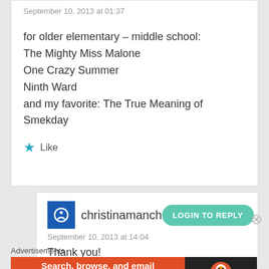September 10, 2013 at 01:37
for older elementary – middle school:
The Mighty Miss Malone
One Crazy Summer
Ninth Ward
and my favorite: The True Meaning of Smekday
★ Like
christinamanch
September 10, 2013 at 14:04
Thank you!
Advertisements
[Figure (infographic): DuckDuckGo advertisement banner: orange left section with text 'Search, browse, and email with more privacy. All in One Free App' and dark right section with DuckDuckGo logo and duck icon]